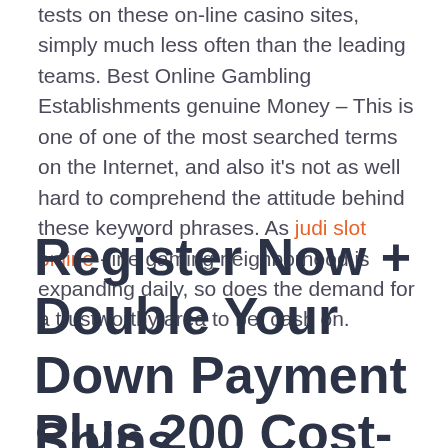tests on these on-line casino sites, simply much less often than the leading teams. Best Online Gambling Establishments genuine Money – This is one of one of the most searched terms on the Internet, and also it's not as well hard to comprehend the attitude behind these keyword phrases. As judi slot online -line gaming neighborhood is expanding daily, so does the demand for a trustworthy area to bet cash on.
Register Now + Double Your Down Payment Plus 200 Cost-free Spins